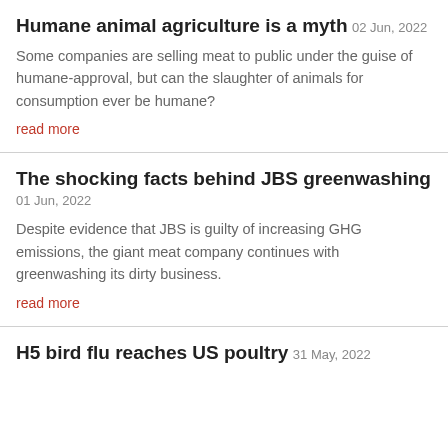Humane animal agriculture is a myth
02 Jun, 2022
Some companies are selling meat to public under the guise of humane-approval, but can the slaughter of animals for consumption ever be humane?
read more
The shocking facts behind JBS greenwashing
01 Jun, 2022
Despite evidence that JBS is guilty of increasing GHG emissions, the giant meat company continues with greenwashing its dirty business.
read more
H5 bird flu reaches US poultry
31 May, 2022